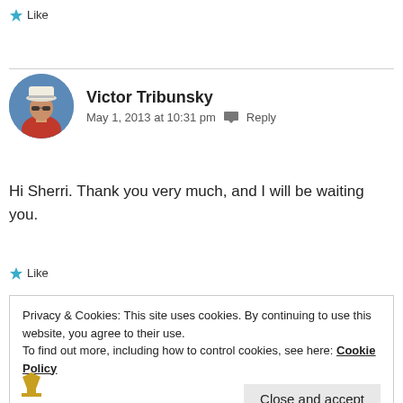★ Like
Victor Tribunsky
May 1, 2013 at 10:31 pm  💬  Reply
Hi Sherri. Thank you very much, and I will be waiting you.
★ Like
Privacy & Cookies: This site uses cookies. By continuing to use this website, you agree to their use.
To find out more, including how to control cookies, see here: Cookie Policy
Close and accept